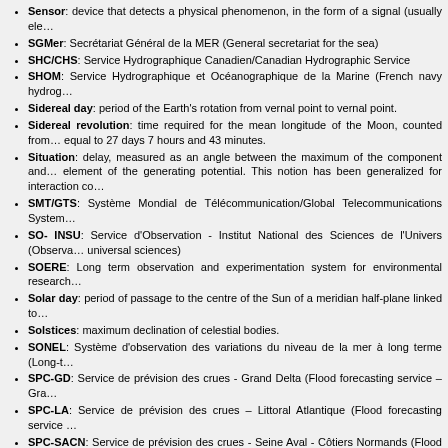Sensor: device that detects a physical phenomenon, in the form of a signal (usually ele…
SGMer: Secrétariat Général de la MER (General secretariat for the sea)
SHC/CHS: Service Hydrographique Canadien/Canadian Hydrographic Service
SHOM: Service Hydrographique et Océanographique de la Marine (French navy hydrog…
Sidereal day: period of the Earth's rotation from vernal point to vernal point.
Sidereal revolution: time required for the mean longitude of the Moon, counted from… equal to 27 days 7 hours and 43 minutes.
Situation: delay, measured as an angle between the maximum of the component and… element of the generating potential. This notion has been generalized for interaction co…
SMT/GTS: Système Mondial de Télécommunication/Global Telecommunications System…
SO- INSU: Service d'Observation - Institut National des Sciences de l'Univers (Observa… universal sciences)
SOERE: Long term observation and experimentation system for environmental research…
Solar day: period of passage to the centre of the Sun of a meridian half-plane linked to…
Solstices: maximum declination of celestial bodies.
SONEL: Système d'observation des variations du niveau de la mer à long terme (Long-t…
SPC-GD: Service de prévision des crues - Grand Delta (Flood forecasting service – Gra…
SPC-LA: Service de prévision des crues – Littoral Atlantique (Flood forecasting service …
SPC-SACN: Service de prévision des crues - Seine Aval - Côtiers Normands (Flood fo… Norman coasts)
SPC-VCB: Service de prévision des crues - Vilaine-Côtiers Bretons (Flood forecasting s…
Spectral analysis: location in the frequency scale of the signals relating to the tempora…
Spectrum: graphic representation of the spectral component moduli.
Spring tide: maximum tidal range.
Stand: time interval during which the sea level remains practically stationary. Depen… stand and high water stand.
Swell: agitation of the surface of the water, with a regular crest that propagates roughly… a perfect frequency is achieved, we talk of swell, swell being a series of identical, re… organization, we talk of a choppy sea.
Swell…